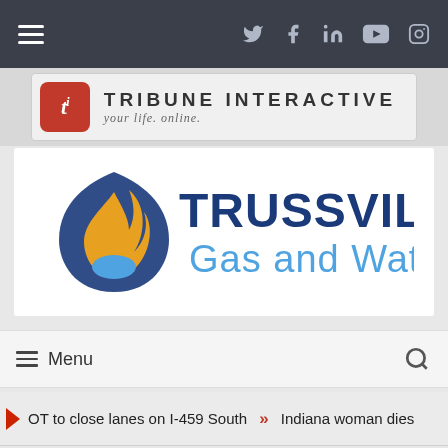≡  Twitter Facebook LinkedIn YouTube Instagram
[Figure (logo): Tribune Interactive logo with red 'ti' box and tagline 'your life. online.']
[Figure (logo): Trussville Gas and Water logo with flame/water droplet icon]
Menu
DOT to close lanes on I-459 South » Indiana woman dies
HOME » LOCAL NEWS » PLANNED LANE CLOSURES ON I-59 SB & NB, IN ST. CLAIR COUNTY